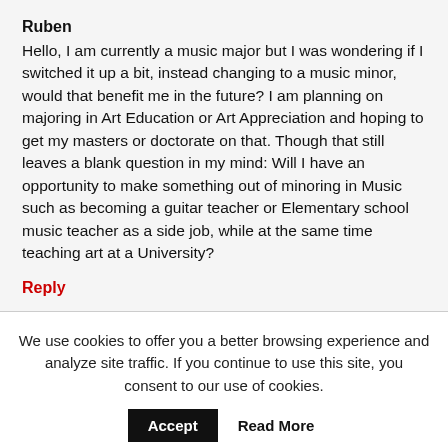Ruben
Hello, I am currently a music major but I was wondering if I switched it up a bit, instead changing to a music minor, would that benefit me in the future? I am planning on majoring in Art Education or Art Appreciation and hoping to get my masters or doctorate on that. Though that still leaves a blank question in my mind: Will I have an opportunity to make something out of minoring in Music such as becoming a guitar teacher or Elementary school music teacher as a side job, while at the same time teaching art at a University?
Reply
We use cookies to offer you a better browsing experience and analyze site traffic. If you continue to use this site, you consent to our use of cookies.